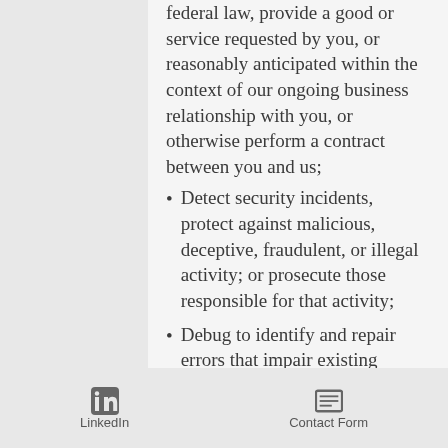federal law, provide a good or service requested by you, or reasonably anticipated within the context of our ongoing business relationship with you, or otherwise perform a contract between you and us;
Detect security incidents, protect against malicious, deceptive, fraudulent, or illegal activity; or prosecute those responsible for that activity;
Debug to identify and repair errors that impair existing intended functionality;
Exercise free speech, ensure the right of another consumer to exercise his or her right of free speech, or exercise another right provided for by law:
LinkedIn   Contact Form